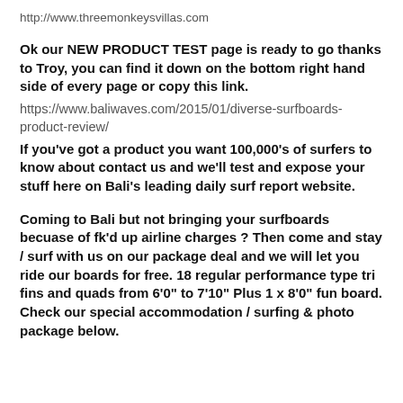http://www.threemonkeysvillas.com
Ok our NEW PRODUCT TEST page is ready to go thanks to Troy, you can find it down on the bottom right hand side of every page or copy this link.
https://www.baliwaves.com/2015/01/diverse-surfboards-product-review/
If you've got a product you want 100,000's of surfers to know about contact us and we'll test and expose your stuff here on Bali's leading daily surf report website.
Coming to Bali but not bringing your surfboards becuase of fk'd up airline charges ? Then come and stay / surf with us on our package deal and we will let you ride our boards for free. 18 regular performance type tri fins and quads from 6'0" to 7'10" Plus 1 x 8'0" fun board. Check our special accommodation / surfing & photo package below.